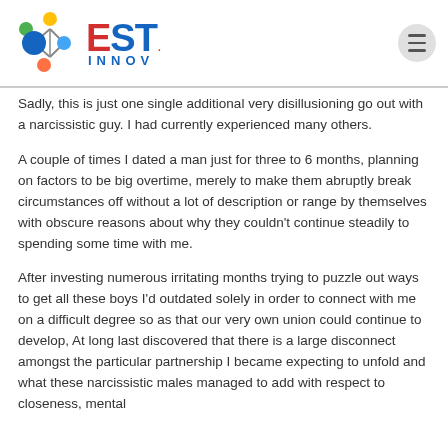EST INNOV
Sadly, this is just one single additional very disillusioning go out with a narcissistic guy. I had currently experienced many others.
A couple of times I dated a man just for three to 6 months, planning on factors to be big overtime, merely to make them abruptly break circumstances off without a lot of description or range by themselves with obscure reasons about why they couldn't continue steadily to spending some time with me.
After investing numerous irritating months trying to puzzle out ways to get all these boys I'd outdated solely in order to connect with me on a difficult degree so as that our very own union could continue to develop, At long last discovered that there is a large disconnect amongst the particular partnership I became expecting to unfold and what these narcissistic males managed to add with respect to closeness, mental